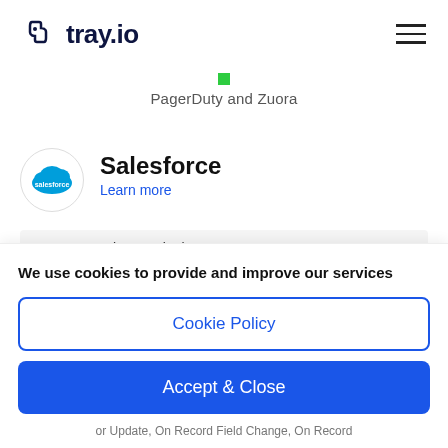tray.io
PagerDuty and Zuora
Salesforce
Learn more
Uses   Sales, Marketing
We use cookies to provide and improve our services
Cookie Policy
Accept & Close
or Update, On Record Field Change, On Record